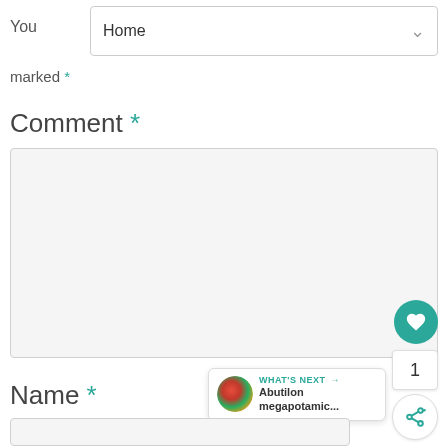You marked *
Home
Comment *
Name *
[Figure (screenshot): Comment form with textarea, heart/like button with count 1, share button, and What's Next panel showing Abutilon megapotamic... navigation]